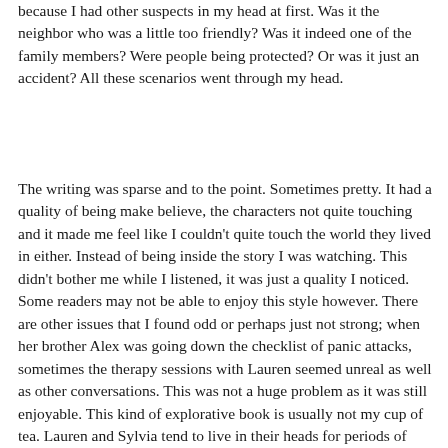because I had other suspects in my head at first.  Was it the neighbor who was a little too friendly?  Was it indeed one of the family members?  Were people being protected?  Or was it just an accident?  All these scenarios went through my head.
The writing was sparse and to the point.  Sometimes pretty.  It had a quality of being make believe, the characters not quite touching and it made me feel like I couldn't quite touch the world they lived in either.  Instead of being inside the story I was watching.  This didn't bother me while I listened, it was just a quality I noticed.  Some readers may not be able to enjoy this style however. There are other issues that I found odd or perhaps just not strong; when her brother Alex was going down the checklist of panic attacks, sometimes the therapy sessions with Lauren seemed unreal as well as other conversations.  This was not a huge problem as it was still enjoyable.  This kind of explorative book is usually not my cup of tea.  Lauren and Sylvia tend to live in their heads for periods of time.  I think people who read literary fiction and love murder mysteries would enjoy this book.